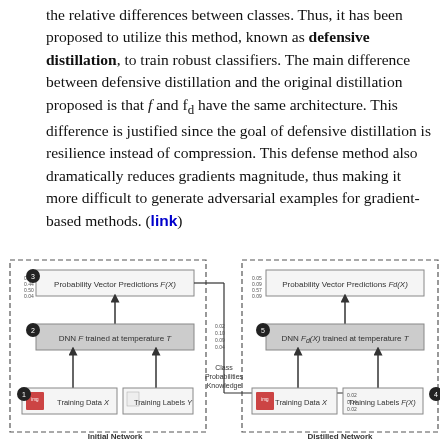the relative differences between classes. Thus, it has been proposed to utilize this method, known as defensive distillation, to train robust classifiers. The main difference between defensive distillation and the original distillation proposed is that f and f_d have the same architecture. This difference is justified since the goal of defensive distillation is resilience instead of compression. This defense method also dramatically reduces gradients magnitude, thus making it more difficult to generate adversarial examples for gradient-based methods. (link)
[Figure (flowchart): Diagram showing defensive distillation with two networks: Initial Network (left) with DNN F trained at temperature T, and Distilled Network (right) with DNN F^d(X) trained at temperature T. Steps numbered 1-5. Class Probabilities Knowledge connects both networks.]